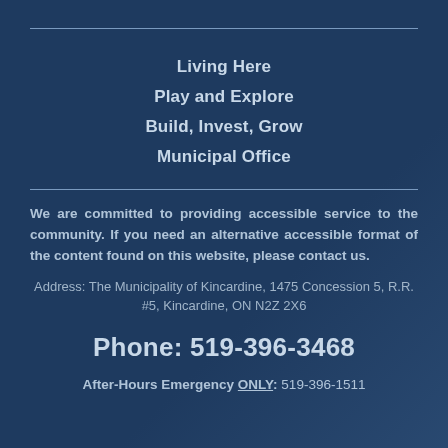Living Here
Play and Explore
Build, Invest, Grow
Municipal Office
We are committed to providing accessible service to the community. If you need an alternative accessible format of the content found on this website, please contact us.
Address: The Municipality of Kincardine, 1475 Concession 5, R.R. #5, Kincardine, ON N2Z 2X6
Phone: 519-396-3468
After-Hours Emergency ONLY: 519-396-1511